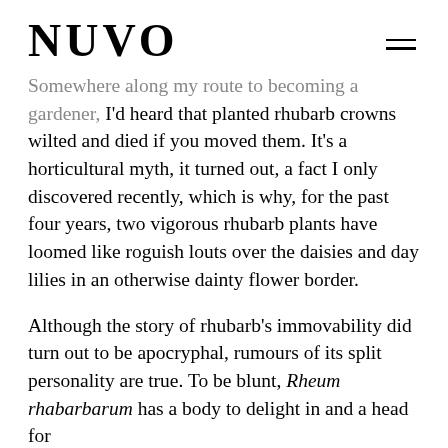NUVO
Somewhere along my route to becoming a gardener, I'd heard that planted rhubarb crowns wilted and died if you moved them. It's a horticultural myth, it turned out, a fact I only discovered recently, which is why, for the past four years, two vigorous rhubarb plants have loomed like roguish louts over the daisies and day lilies in an otherwise dainty flower border.
Although the story of rhubarb's immovability did turn out to be apocryphal, rumours of its split personality are true. To be blunt, Rheum rhabarbarum has a body to delight in and a head for